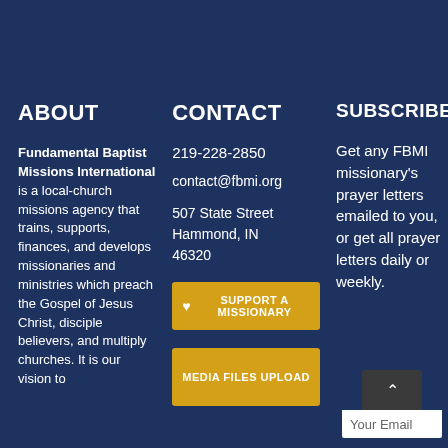ABOUT
CONTACT
SUBSCRIBE
Fundamental Baptist Missions International is a local-church missions agency that trains, supports, finances, and develops missionaries and ministries which preach the Gospel of Jesus Christ, disciple believers, and multiply churches. It is our vision to
219-228-2850
contact@fbmi.org
507 State Street Hammond, IN 46320
SUPPORT A MISSIONARY
MEDIA FILES UPLOAD
Get any FBMI missionary's prayer letters emailed to you, or get all prayer letters daily or weekly.
Your Email